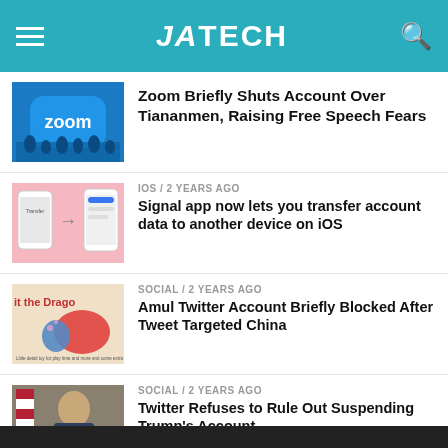JATECH
[Figure (screenshot): Zoom logo on blue background with silhouettes]
Zoom Briefly Shuts Account Over Tiananmen, Raising Free Speech Fears
[Figure (screenshot): Signal app transfer screen on pink background]
IOS / 2 years ago
Signal app now lets you transfer account data to another device on iOS
[Figure (illustration): Hit the Dragon illustration]
SOCIAL / 2 years ago
Amul Twitter Account Briefly Blocked After Tweet Targeted China
[Figure (photo): Trump holding a newspaper]
SOCIAL / 2 years ago
Twitter Refuses to Rule Out Suspending Trump's Account